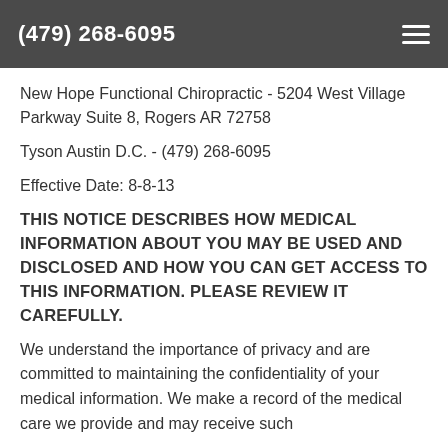(479) 268-6095
New Hope Functional Chiropractic - 5204 West Village Parkway Suite 8, Rogers AR 72758
Tyson Austin D.C. - (479) 268-6095
Effective Date: 8-8-13
THIS NOTICE DESCRIBES HOW MEDICAL INFORMATION ABOUT YOU MAY BE USED AND DISCLOSED AND HOW YOU CAN GET ACCESS TO THIS INFORMATION. PLEASE REVIEW IT CAREFULLY.
We understand the importance of privacy and are committed to maintaining the confidentiality of your medical information. We make a record of the medical care we provide and may receive such